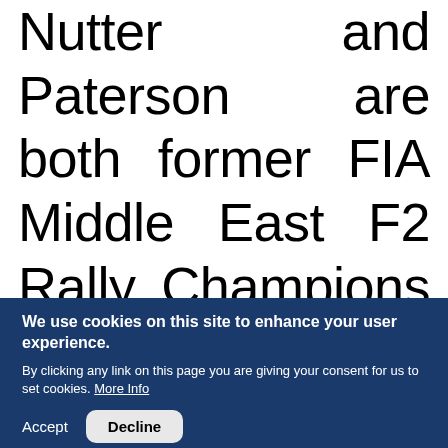Nutter and Paterson are both former FIA Middle East F2 Rally Champions and share extensive experience of overseas competition, notably in the
We use cookies on this site to enhance your user experience. By clicking any link on this page you are giving your consent for us to set cookies. More Info
Accept
Decline